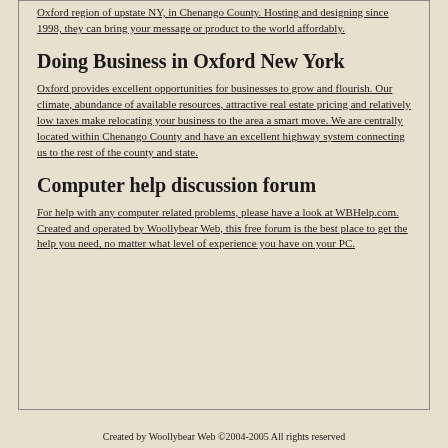Oxford region of upstate NY, in Chenango County. Hosting and designing since 1998, they can bring your message or product to the world affordably.
Doing Business in Oxford New York
Oxford provides excellent opportunities for businesses to grow and flourish. Our climate, abundance of available resources, attractive real estate pricing and relatively low taxes make relocating your business to the area a smart move. We are centrally located within Chenango County and have an excellent highway system connecting us to the rest of the county and state.
Computer help discussion forum
For help with any computer related problems, please have a look at WBHelp.com. Created and operated by Woollybear Web, this free forum is the best place to get the help you need, no matter what level of experience you have on your PC.
Created by Woollybear Web ©2004-2005 All rights reserved